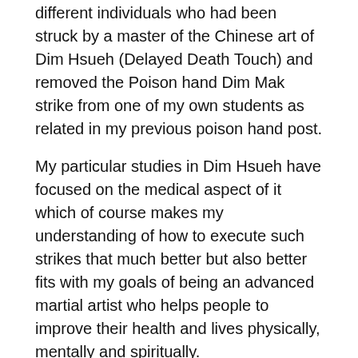I have personally removed a Dim Mak strike from several different individuals who had been struck by a master of the Chinese art of Dim Hsueh (Delayed Death Touch) and removed the Poison hand Dim Mak strike from one of my own students as related in my previous poison hand post.
My particular studies in Dim Hsueh have focused on the medical aspect of it which of course makes my understanding of how to execute such strikes that much better but also better fits with my goals of being an advanced martial artist who helps people to improve their health and lives physically, mentally and spiritually.
I am remiss to state here that I have not done the best job of obtaining  endorsements and documentation of various incidents and my ability with these skills.  We are working on remedying that now.  So, if any of the